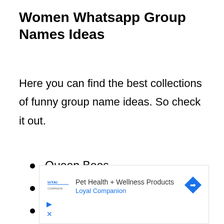Women Whatsapp Group Names Ideas
Here you can find the best collections of funny group name ideas. So check it out.
Queen Bees
Diamonds
Superstars
Vipers
[Figure (other): Advertisement banner for Loyal Companion pet health and wellness products]